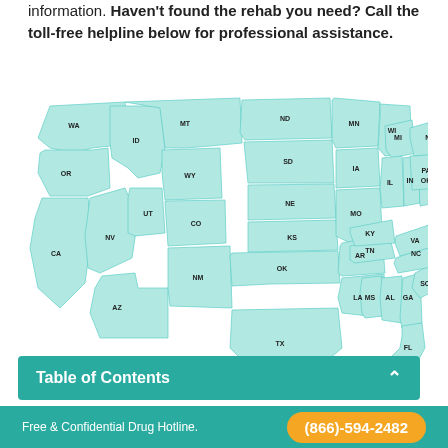information. Haven't found the rehab you need? Call the toll-free helpline below for professional assistance.
[Figure (map): Interactive map of the United States with all 50 states outlined and labeled with their abbreviations, filled with a light teal/mint color. States labeled: WA, OR, CA, ID, NV, MT, WY, UT, AZ, ND, SD, NE, KS, CO, NM, TX, OK, AR, LA, MS, AL, TN, MO, IA, MN, WI, MI, IN, IL, KY, OH, GA, FL, SC, NC, VA, WV, PA, NY, ME, and others.]
Table of Contents
Free & Confidential Drug Hotline.
(866)-594-2482